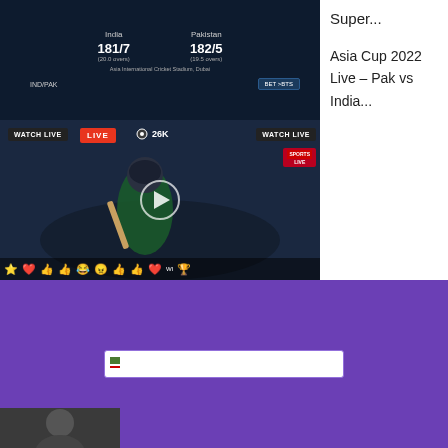[Figure (screenshot): Cricket live stream screenshot showing scoreboard with India 181/7 (20.0 overs) vs Pakistan 182/5 (19.5 overs), with WATCH LIVE and LIVE badges, 26K viewers, play button overlay, and emoji reaction bar at bottom.]
Super...
Asia Cup 2022 Live – Pak vs India...
[Figure (screenshot): Purple/violet banner section with a search input bar containing a small flag/icon on the left edge.]